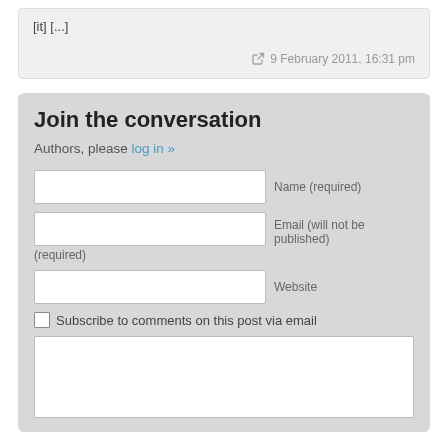[it] [...]
9 February 2011, 16:31 pm
Join the conversation
Authors, please log in »
Name (required)
Email (will not be published) (required)
Website
Subscribe to comments on this post via email